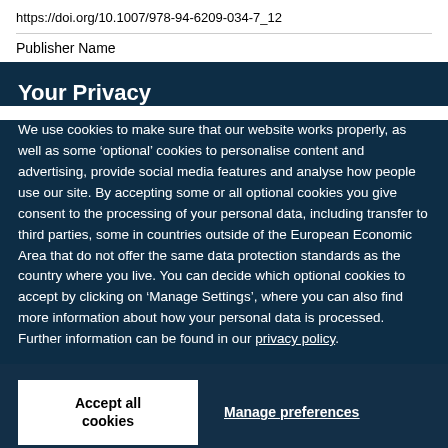https://doi.org/10.1007/978-94-6209-034-7_12
Publisher Name
Your Privacy
We use cookies to make sure that our website works properly, as well as some ‘optional’ cookies to personalise content and advertising, provide social media features and analyse how people use our site. By accepting some or all optional cookies you give consent to the processing of your personal data, including transfer to third parties, some in countries outside of the European Economic Area that do not offer the same data protection standards as the country where you live. You can decide which optional cookies to accept by clicking on ‘Manage Settings’, where you can also find more information about how your personal data is processed. Further information can be found in our privacy policy.
Accept all cookies
Manage preferences